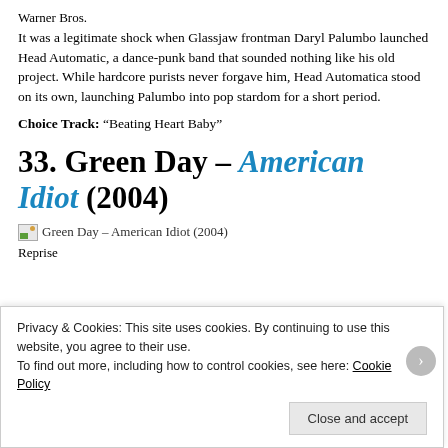Warner Bros.
It was a legitimate shock when Glassjaw frontman Daryl Palumbo launched Head Automatic, a dance-punk band that sounded nothing like his old project. While hardcore purists never forgave him, Head Automatica stood on its own, launching Palumbo into pop stardom for a short period.
Choice Track: “Beating Heart Baby”
33. Green Day – American Idiot (2004)
[Figure (photo): Green Day – American Idiot (2004) album image placeholder]
Reprise
Privacy & Cookies: This site uses cookies. By continuing to use this website, you agree to their use.
To find out more, including how to control cookies, see here: Cookie Policy